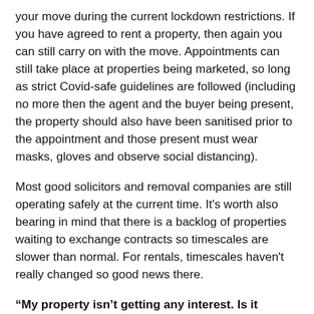your move during the current lockdown restrictions. If you have agreed to rent a property, then again you can still carry on with the move. Appointments can still take place at properties being marketed, so long as strict Covid-safe guidelines are followed (including no more then the agent and the buyer being present, the property should also have been sanitised prior to the appointment and those present must wear masks, gloves and observe social distancing).
Most good solicitors and removal companies are still operating safely at the current time. It's worth also bearing in mind that there is a backlog of properties waiting to exchange contracts so timescales are slower than normal. For rentals, timescales haven't really changed so good news there.
“My property isn’t getting any interest. Is it because of Covid?”
Probably not, the market is still very buoyant. If this is the case please contact us as we can almost certainly help you.